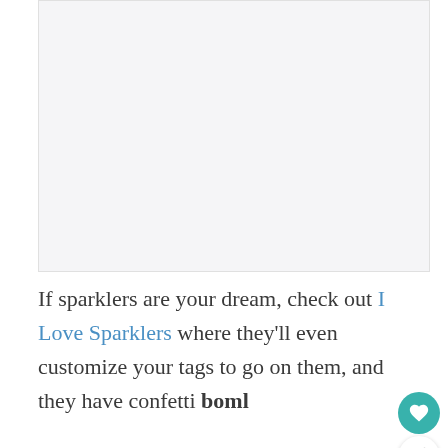[Figure (other): Light gray placeholder image area at the top of the page]
If sparklers are your dream, check out I Love Sparklers where they'll even customize your tags to go on them, and they have confetti boml canus!!!